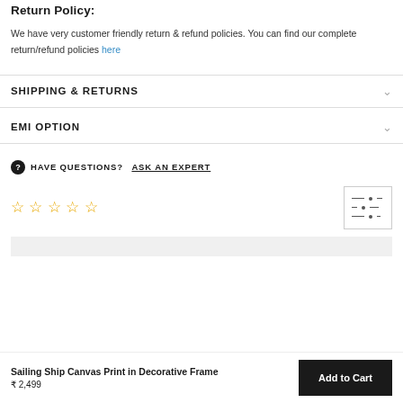Return Policy:
We have very customer friendly return & refund policies. You can find our complete return/refund policies here
SHIPPING & RETURNS
EMI OPTION
HAVE QUESTIONS? ASK AN EXPERT
[Figure (other): Five empty star rating icons]
Sailing Ship Canvas Print in Decorative Frame ₹ 2,499
Add to Cart